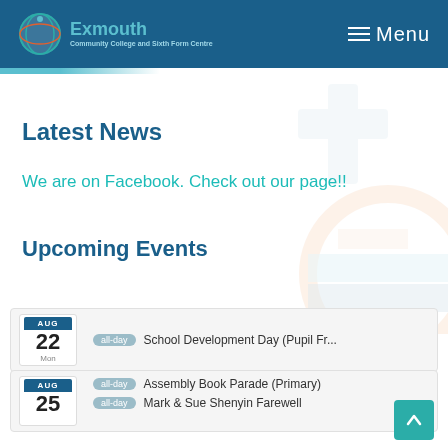Exmouth | Menu
Latest News
We are on Facebook. Check out our page!!
Upcoming Events
AUG 22 Mon | all-day | School Development Day (Pupil Fr...
AUG 25 | all-day | Assembly Book Parade (Primary)
AUG 25 | all-day | Mark & Sue Shenyin Farewell